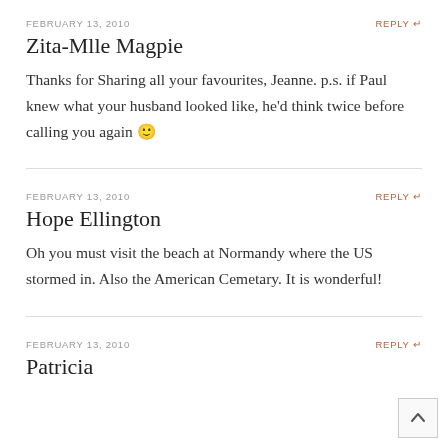FEBRUARY 13, 2010
REPLY
Zita-Mlle Magpie
Thanks for Sharing all your favourites, Jeanne. p.s. if Paul knew what your husband looked like, he'd think twice before calling you again 🙂
FEBRUARY 13, 2010
REPLY
Hope Ellington
Oh you must visit the beach at Normandy where the US stormed in. Also the American Cemetary. It is wonderful!
FEBRUARY 13, 2010
REPLY
Patricia